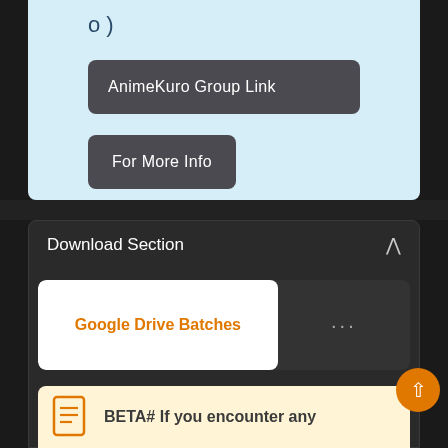o )
AnimeKuro Group Link
For More Info
Download Section
Google Drive Batches
BETA# If you encounter any